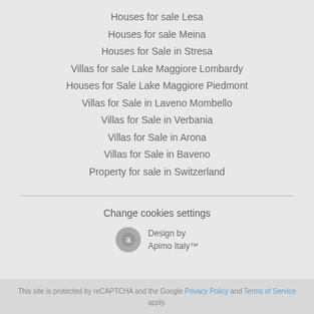Houses for sale Lesa
Houses for sale Meina
Houses for Sale in Stresa
Villas for sale Lake Maggiore Lombardy
Houses for Sale Lake Maggiore Piedmont
Villas for Sale in Laveno Mombello
Villas for Sale in Verbania
Villas for Sale in Arona
Villas for Sale in Baveno
Property for sale in Switzerland
Change cookies settings
Design by Apimo Italy™
This site is protected by reCAPTCHA and the Google Privacy Policy and Terms of Service apply.